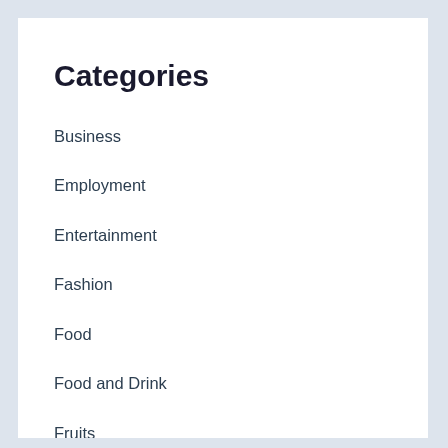Categories
Business
Employment
Entertainment
Fashion
Food
Food and Drink
Fruits
Furniture